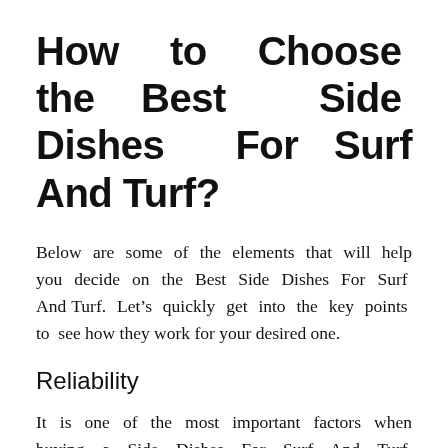How to Choose the Best Side Dishes For Surf And Turf?
Below are some of the elements that will help you decide on the Best Side Dishes For Surf And Turf. Let’s quickly get into the key points to see how they work for your desired one.
Reliability
It is one of the most important factors when buying a Side Dishes For Surf And Turf. Customers expect consistency in performance. Reading the customer reviews will save you from getting defective, and unreliable products. Companies that offer warranties